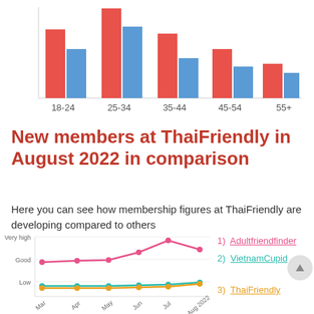[Figure (grouped-bar-chart): Age distribution grouped bar chart]
New members at ThaiFriendly in August 2022 in comparison
Here you can see how membership figures at ThaiFriendly are developing compared to others
[Figure (line-chart): New members comparison]